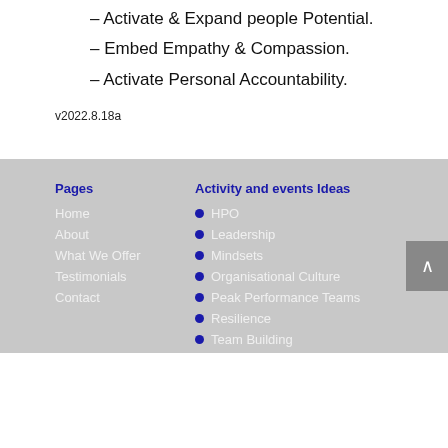– Activate & Expand people Potential.
– Embed Empathy & Compassion.
– Activate Personal Accountability.
v2022.8.18a
Pages
Activity and events Ideas
Home
About
What We Offer
Testimonials
Contact
HPO
Leadership
Mindsets
Organisational Culture
Peak Performance Teams
Resilience
Team Building